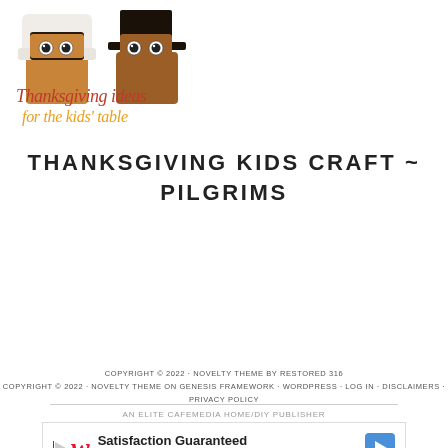[Figure (logo): Thanksgiving crafts logo with two pilgrim paper bag figures with googly eyes and text 'Thanksgiving ideas for the kids table' in cursive]
THANKSGIVING KIDS CRAFT ~ PILGRIMS
COPYRIGHT © 2022 · NOVELTY THEME BY RESTORED 316
COPYRIGHT © 2022 · NOVELTY THEME ON GENESIS FRAMEWORK · WORDPRESS · LOG IN · DISCLAIMERS · PRIVACY POLICY
AN ELITE CAFEMEDIA HOME/DIY PUBLISHER
[Figure (screenshot): Walgreens Photo advertisement banner: Satisfaction Guaranteed - Walgreens Photo]